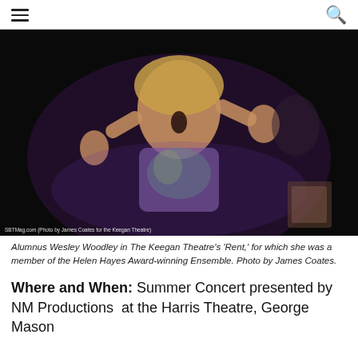Navigation menu and search icon
[Figure (photo): A woman performing on stage, arms raised, mouth open singing, wearing a colorful butterfly-print top, purple stage lighting, with 'SBTMag.com (Photo by James Coates for the Keegan Theatre)' watermark.]
Alumnus Wesley Woodley in The Keegan Theatre's 'Rent,' for which she was a member of the Helen Hayes Award-winning Ensemble. Photo by James Coates.
Where and When: Summer Concert presented by NM Productions  at the Harris Theatre, George Mason